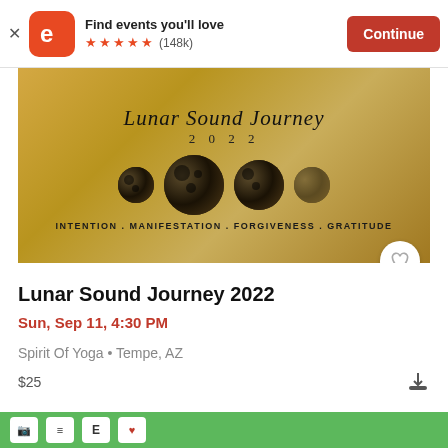Find events you'll love ★★★★★ (148k) Continue
[Figure (photo): Lunar Sound Journey 2022 event banner with golden watercolor background, three moon phases illustrated, and text: INTENTION . MANIFESTATION . FORGIVENESS . GRATITUDE]
Lunar Sound Journey 2022
Sun, Sep 11, 4:30 PM
Spirit Of Yoga • Tempe, AZ
$25
[Figure (screenshot): Bottom navigation bar with green background and app icons]